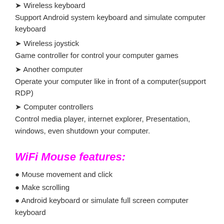➤ Wireless keyboard
Support Android system keyboard and simulate computer keyboard
➤ Wireless joystick
Game controller for control your computer games
➤ Another computer
Operate your computer like in front of a computer(support RDP)
➤ Computer controllers
Control media player, internet explorer, Presentation, windows, even shutdown your computer.
WiFi Mouse features:
● Mouse movement and click
● Make scrolling
● Android keyboard or simulate full screen computer keyboard